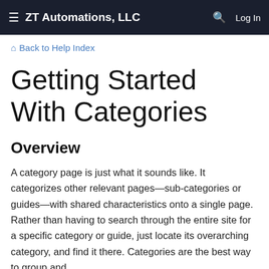ZT Automations, LLC  Log In
🏠 Back to Help Index
Getting Started With Categories
Overview
A category page is just what it sounds like. It categorizes other relevant pages—sub-categories or guides—with shared characteristics onto a single page. Rather than having to search through the entire site for a specific category or guide, just locate its overarching category, and find it there. Categories are the best way to group and